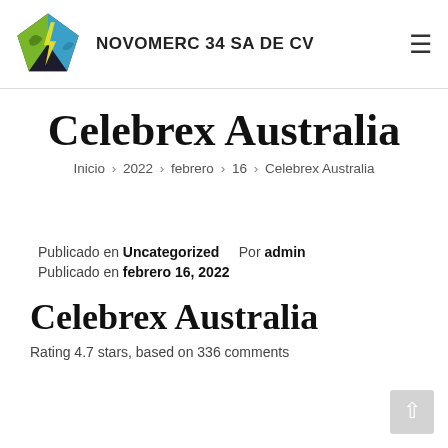[Figure (logo): Novomerc 34 SA DE CV logo: pentagon shape with green, blue, and black sections with a lightning bolt, next to company name text]
Celebrex Australia
Inicio › 2022 › febrero › 16 › Celebrex Australia
Publicado en Uncategorized    Por admin
Publicado en febrero 16, 2022
Celebrex Australia
Rating 4.7 stars, based on 336 comments